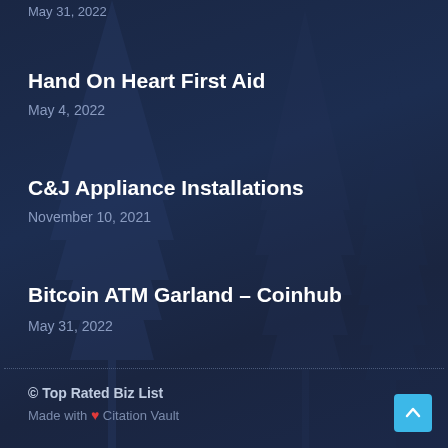May 31, 2022
Hand On Heart First Aid
May 4, 2022
C&J Appliance Installations
November 10, 2021
Bitcoin ATM Garland – Coinhub
May 31, 2022
© Top Rated Biz List
Made with ❤ Citation Vault